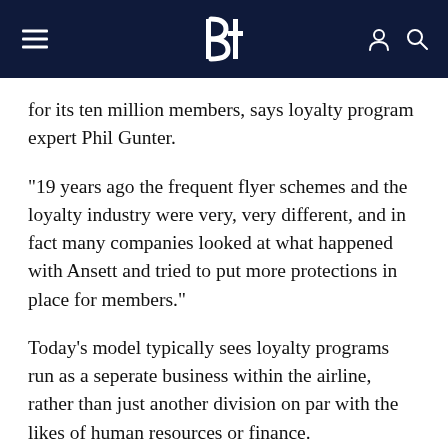Bt
for its ten million members, says loyalty program expert Phil Gunter.
"19 years ago the frequent flyer schemes and the loyalty industry were very, very different, and in fact many companies looked at what happened with Ansett and tried to put more protections in place for members."
Today's model typically sees loyalty programs run as a seperate business within the airline, rather than just another division on par with the likes of human resources or finance.